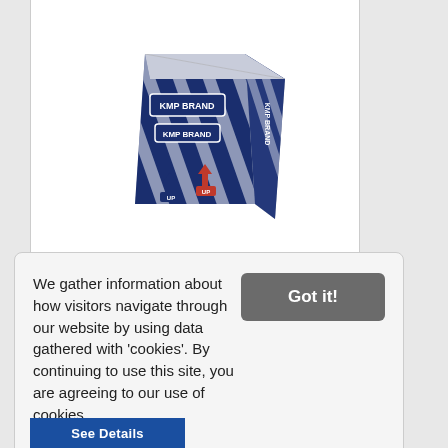[Figure (photo): KMP Brand product box — a rectangular cardboard box with blue and white diagonal stripe pattern, red KMP BRAND logos, and UP arrows with house symbols on the front.]
We gather information about how visitors navigate through our website by using data gathered with 'cookies'. By continuing to use this site, you are agreeing to our use of cookies.
Learn more
Got it!
See Details